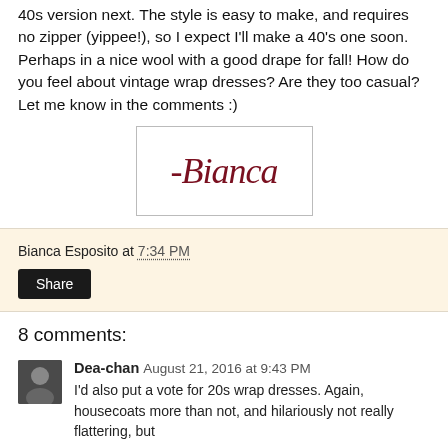40s version next. The style is easy to make, and requires no zipper (yippee!), so I expect I'll make a 40's one soon. Perhaps in a nice wool with a good drape for fall! How do you feel about vintage wrap dresses? Are they too casual? Let me know in the comments :)
[Figure (illustration): Cursive signature reading '-Bianca' in dark red/maroon script inside a rectangular bordered box]
Bianca Esposito at 7:34 PM
Share
8 comments:
Dea-chan August 21, 2016 at 9:43 PM
I'd also put a vote for 20s wrap dresses. Again, housecoats more than not, and hilariously not really flattering, but...